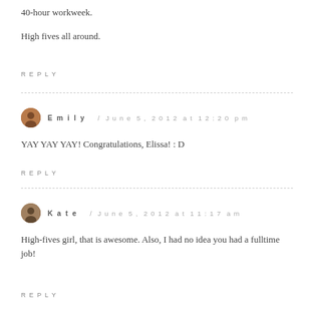40-hour workweek.
High fives all around.
REPLY
Emily / June 5, 2012 at 12:20 pm
YAY YAY YAY! Congratulations, Elissa! : D
REPLY
Kate / June 5, 2012 at 11:17 am
High-fives girl, that is awesome. Also, I had no idea you had a fulltime job!
REPLY